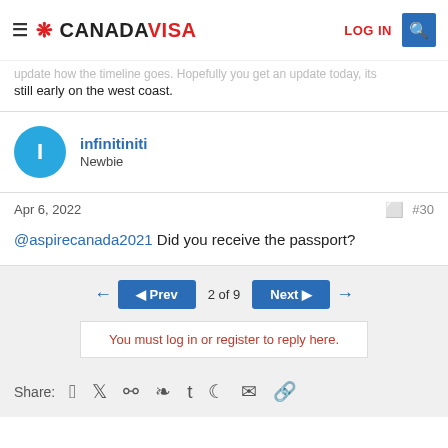CANADAVISA — LOG IN
update how the timeline goes. Hopefully you get an update today, its still early on the west coast.
infinitiniti
Newbie
Apr 6, 2022   #30
@aspirecanada2021 Did you receive the passport?
◄ Prev   2 of 9   Next ►
You must log in or register to reply here.
Share: